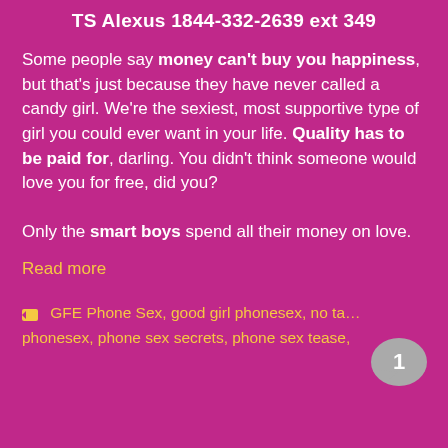TS Alexus 1844-332-2639 ext 349
Some people say money can't buy you happiness, but that's just because they have never called a candy girl. We're the sexiest, most supportive type of girl you could ever want in your life. Quality has to be paid for, darling. You didn't think someone would love you for free, did you?

Only the smart boys spend all their money on love.
Read more
GFE Phone Sex, good girl phonesex, no ta… phonesex, phone sex secrets, phone sex tease,